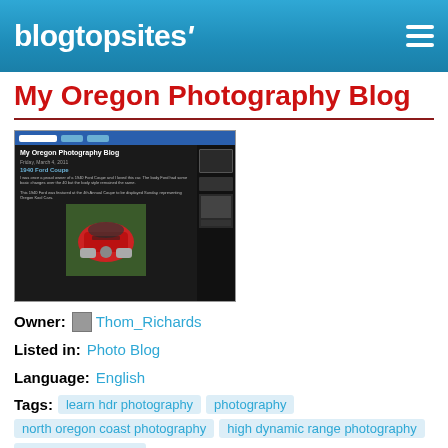blogtopsites'
My Oregon Photography Blog
[Figure (screenshot): Screenshot of the My Oregon Photography Blog website showing a dark-themed blog with a post titled '1940 Ford Coupe' featuring a red classic car photo viewed from the front, and a sidebar on the right.]
Owner: Thom_Richards
Listed in: Photo Blog
Language: English
Tags: learn hdr photography  photography  north oregon coast photography  high dynamic range photography  oregon photography
Oregon Is A Photographer's Dream! It Possesses